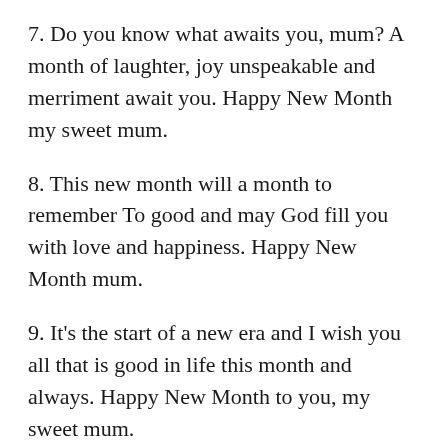7. Do you know what awaits you, mum? A month of laughter, joy unspeakable and merriment await you. Happy New Month my sweet mum.
8. This new month will a month to remember To good and may God fill you with love and happiness. Happy New Month mum.
9. It's the start of a new era and I wish you all that is good in life this month and always. Happy New Month to you, my sweet mum.
10. In this new month, you shall flourish and do exploit. You shall be blessed beyond measure. Happy New Month dad.
Happy New Month Messages to